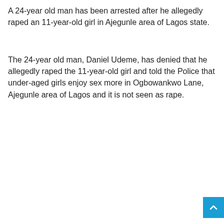A 24-year old man has been arrested after he allegedly raped an 11-year-old girl in Ajegunle area of Lagos state.
The 24-year old man, Daniel Udeme, has denied that he allegedly raped the 11-year-old girl and told the Police that under-aged girls enjoy sex more in Ogbowankwo Lane, Ajegunle area of Lagos and it is not seen as rape.